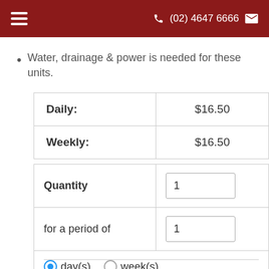(02) 4647 6666
Water, drainage & power is needed for these units.
|  |  |
| --- | --- |
| Daily: | $16.50 |
| Weekly: | $16.50 |
|  |  |
| --- | --- |
| Quantity | 1 |
| for a period of | 1 |
| day(s)   week(s) |  |